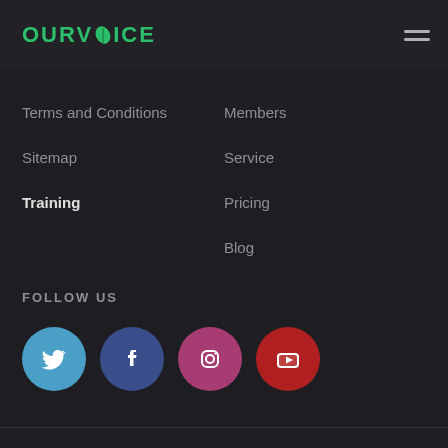OURVOICE
Terms and Conditions
Sitemap
Training
Members
Service
Pricing
Blog
FOLLOW US
[Figure (illustration): Four social media icon circles: Twitter (blue), Facebook (dark blue), Instagram (pink/magenta), YouTube (red)]